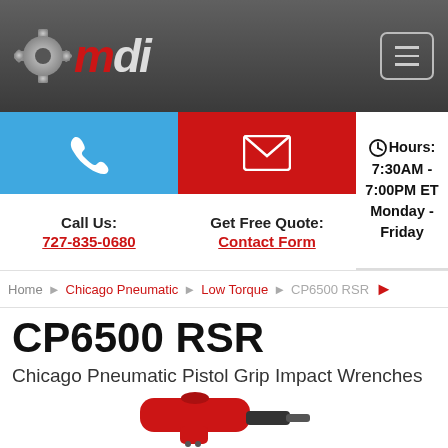[Figure (logo): MDI company logo with gear icon and red italic 'mdi' text on dark gray header background, with hamburger menu button on the right]
Call Us: 727-835-0680
Get Free Quote: Contact Form
Hours: 7:30AM - 7:00PM ET Monday - Friday
Home → Chicago Pneumatic → Low Torque → CP6500 RSR →
CP6500 RSR
Chicago Pneumatic Pistol Grip Impact Wrenches
[Figure (photo): Red Chicago Pneumatic CP6500 RSR pistol grip impact wrench]